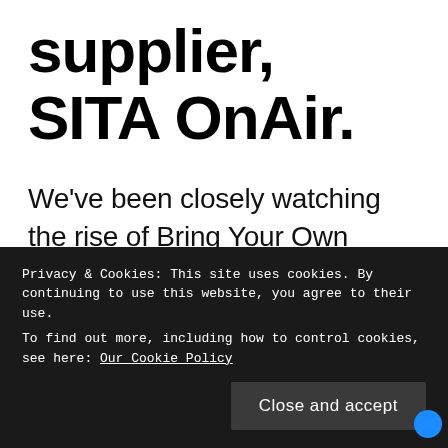supplier, SITA OnAir.
We've been closely watching the rise of Bring Your Own Device (BYOD) in-flight entertainment (IFE) trend as new services and solutions arise which let airlines offer entertainment content on flights where there previously was none, or as
Privacy & Cookies: This site uses cookies. By continuing to use this website, you agree to their use.
To find out more, including how to control cookies, see here: Our Cookie Policy
Close and accept